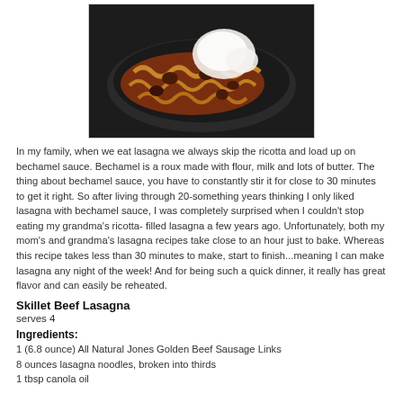[Figure (photo): A dark skillet containing lasagna noodles with meat sauce and white ricotta or cream dollops on top, photographed on a dark background.]
In my family, when we eat lasagna we always skip the ricotta and load up on bechamel sauce. Bechamel is a roux made with flour, milk and lots of butter. The thing about bechamel sauce, you have to constantly stir it for close to 30 minutes to get it right. So after living through 20-something years thinking I only liked lasagna with bechamel sauce, I was completely surprised when I couldn't stop eating my grandma's ricotta- filled lasagna a few years ago. Unfortunately, both my mom's and grandma's lasagna recipes take close to an hour just to bake. Whereas this recipe takes less than 30 minutes to make, start to finish...meaning I can make lasagna any night of the week! And for being such a quick dinner, it really has great flavor and can easily be reheated.
Skillet Beef Lasagna
serves 4
Ingredients:
1 (6.8 ounce) All Natural Jones Golden Beef Sausage Links
8 ounces lasagna noodles, broken into thirds
1 tbsp canola oil